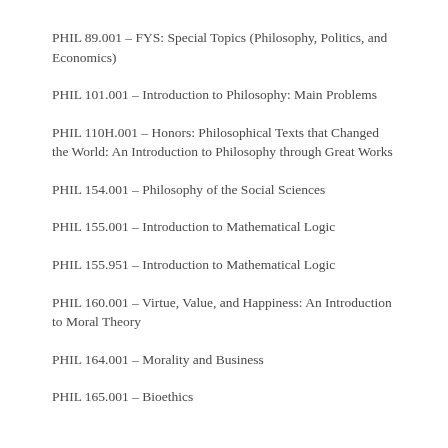PHIL 89.001 – FYS: Special Topics (Philosophy, Politics, and Economics)
PHIL 101.001 – Introduction to Philosophy: Main Problems
PHIL 110H.001 – Honors: Philosophical Texts that Changed the World: An Introduction to Philosophy through Great Works
PHIL 154.001 – Philosophy of the Social Sciences
PHIL 155.001 – Introduction to Mathematical Logic
PHIL 155.951 – Introduction to Mathematical Logic
PHIL 160.001 – Virtue, Value, and Happiness: An Introduction to Moral Theory
PHIL 164.001 – Morality and Business
PHIL 165.001 – Bioethics